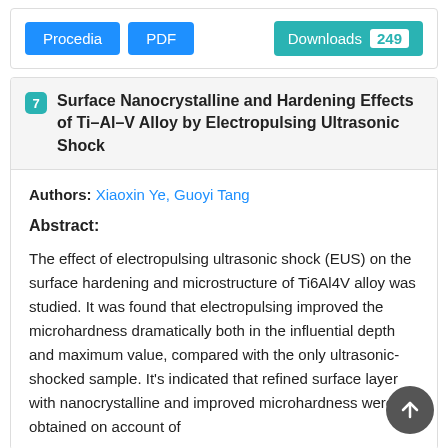[Figure (other): Button row with Procedia and PDF buttons on the left, Downloads 249 button on the right]
7 Surface Nanocrystalline and Hardening Effects of Ti–Al–V Alloy by Electropulsing Ultrasonic Shock
Authors: Xiaoxin Ye, Guoyi Tang
Abstract:
The effect of electropulsing ultrasonic shock (EUS) on the surface hardening and microstructure of Ti6Al4V alloy was studied. It was found that electropulsing improved the microhardness dramatically both in the influential depth and maximum value, compared with the only ultrasonic-shocked sample. It's indicated that refined surface layer with nanocrystalline and improved microhardness were obtained on account of